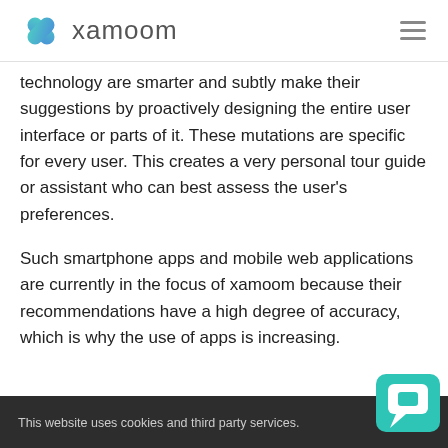xamoom
technology are smarter and subtly make their suggestions by proactively designing the entire user interface or parts of it. These mutations are specific for every user. This creates a very personal tour guide or assistant who can best assess the user's preferences.
Such smartphone apps and mobile web applications are currently in the focus of xamoom because their recommendations have a high degree of accuracy, which is why the use of apps is increasing.
This website uses cookies and third party services.